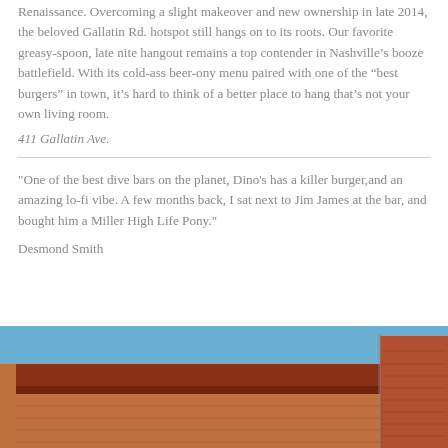Renaissance. Overcoming a slight makeover and new ownership in late 2014, the beloved Gallatin Rd. hotspot still hangs on to its roots. Our favorite greasy-spoon, late nite hangout remains a top contender in Nashville’s booze battlefield. With its cold-ass beer-ony menu paired with one of the “best burgers” in town, it’s hard to think of a better place to hang that’s not your own living room.
411 Gallatin Ave.
"One of the best dive bars on the planet, Dino's has a killer burger,and an amazing lo-fi vibe. A few months back, I sat next to Jim James at the bar, and bought him a Miller High Life Pony."
Desmond Smith
[Figure (photo): Exterior photo of a brick building with a flat overhang/awning, showing reddish-brown brick walls under a blue sky.]